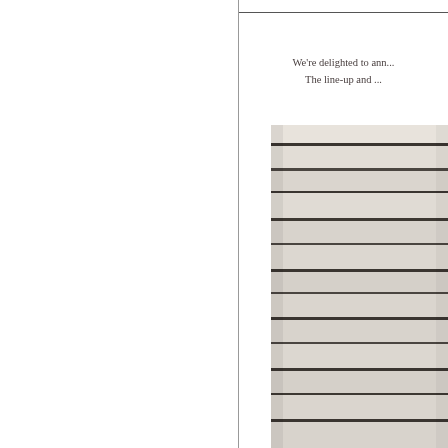We're delighted to ann... The line-up and ...
[Figure (photo): Close-up photograph of what appears to be layered book spines or architectural detail showing horizontal bands of cream/beige and dark brown/black lines]